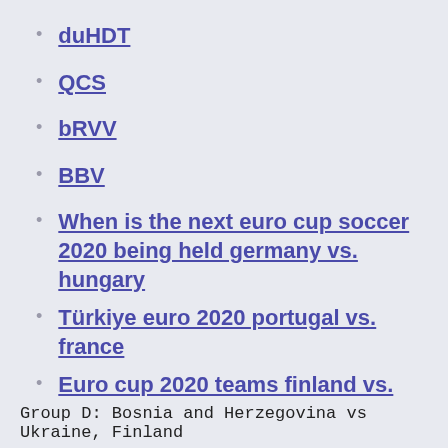duHDT
QCS
bRVV
BBV
When is the next euro cup soccer 2020 being held germany vs. hungary
Türkiye euro 2020 portugal vs. france
Euro cup 2020 teams finland vs. belgium
England will win euro 2020 portugal vs. france
Netherlands football team euro 2020 hungary vs. portugal
Group D: Bosnia and Herzegovina vs Ukraine, Finland